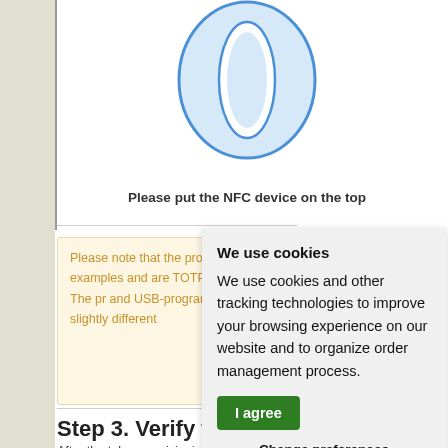[Figure (illustration): NFC device illustration showing a blue circular NFC chip/token placed on top of a reader device, with a vertical gray border line on the left]
Please put the NFC device on the top
Please note that the proc only as examples and are TOTP tokens only. The pr and USB-programmable c slightly different
Step 3. Verify the OTP
After the token provisioning and back on. Enter the OTP
We use cookies
We use cookies and other tracking technologies to improve your browsing experience on our website and to organize order management process.
I agree
Change preferences